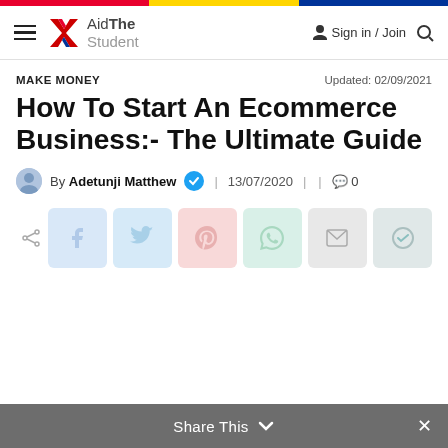AidThe Student — Sign in / Join
MAKE MONEY
Updated: 02/09/2021
How To Start An Ecommerce Business:- The Ultimate Guide
By Adetunji Matthew  13/07/2020  0
[Figure (other): Social share buttons: Facebook, Twitter, Pinterest, WhatsApp, Email, OK]
Share This